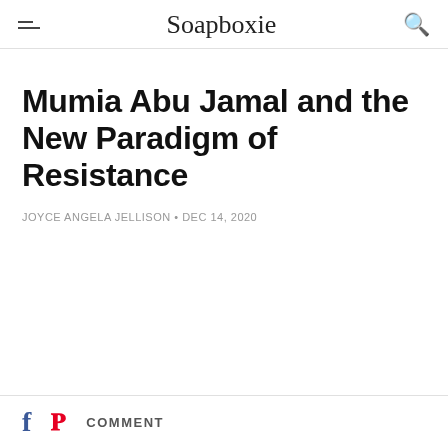Soapboxie
Mumia Abu Jamal and the New Paradigm of Resistance
JOYCE ANGELA JELLISON • DEC 14, 2020
COMMENT